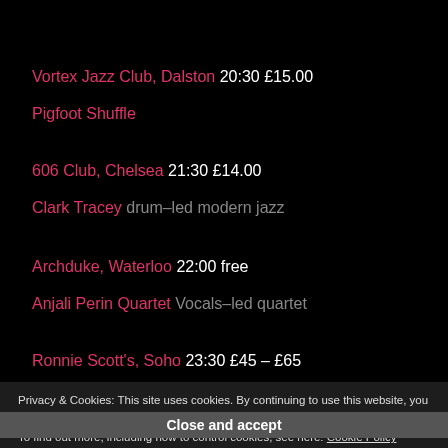Vortex Jazz Club, Dalston 20:30 £15.00
Pigfoot Shuffle
606 Club, Chelsea 21:30 £14.00
Clark Tracey drum-led modern jazz
Archduke, Waterloo 22:00 free
Anjali Perin Quartet Vocals-led quartet
Ronnie Scott's, Soho 23:30 £45 – £65
Privacy & Cookies: This site uses cookies. By continuing to use this website, you agree to their use. To find out more, including how to control cookies, see here: Cookie Policy
Ronnie Scott's, Soho 2 door £6 NUS Free MU
Close and accept
Giacomo Smith Quartet Late Late Show